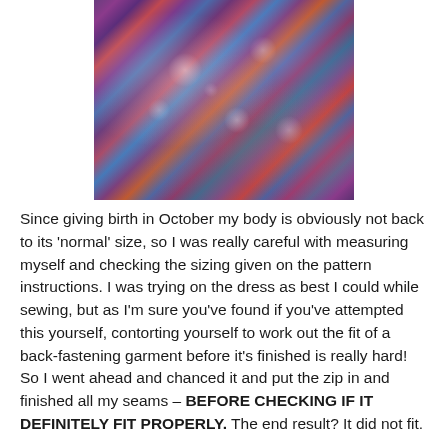[Figure (photo): A folded piece of colorful floral fabric, predominantly purple/multicolor with abstract floral pattern, photographed on a light surface]
Since giving birth in October my body is obviously not back to its ‘normal’ size, so I was really careful with measuring myself and checking the sizing given on the pattern instructions. I was trying on the dress as best I could while sewing, but as I’m sure you’ve found if you’ve attempted this yourself, contorting yourself to work out the fit of a back-fastening garment before it’s finished is really hard! So I went ahead and chanced it and put the zip in and finished all my seams – BEFORE CHECKING IF IT DEFINITELY FIT PROPERLY. The end result? It did not fit.